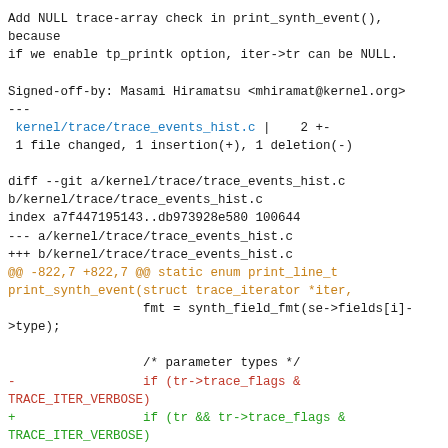Add NULL trace-array check in print_synth_event(),
because
if we enable tp_printk option, iter->tr can be NULL.

Signed-off-by: Masami Hiramatsu <mhiramat@kernel.org>
---
 kernel/trace/trace_events_hist.c |    2 +-
 1 file changed, 1 insertion(+), 1 deletion(-)

diff --git a/kernel/trace/trace_events_hist.c
b/kernel/trace/trace_events_hist.c
index a7f447195143..db973928e580 100644
--- a/kernel/trace/trace_events_hist.c
+++ b/kernel/trace/trace_events_hist.c
@@ -822,7 +822,7 @@ static enum print_line_t
print_synth_event(struct trace_iterator *iter,
                  fmt = synth_field_fmt(se->fields[i]-
>type);

                  /* parameter types */
-                 if (tr->trace_flags &
TRACE_ITER_VERBOSE)
+                 if (tr && tr->trace_flags &
TRACE_ITER_VERBOSE)
                          trace_seq_printf(s, "%s ",
fmt);

                  snprintf(print_fmt, sizeof(print_fmt),
"%%s=%s%%s", fmt);